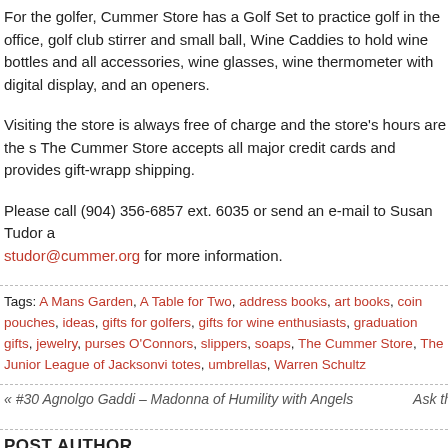For the golfer, Cummer Store has a Golf Set to practice golf in the office, golf club stirrer and small ball, Wine Caddies to hold wine bottles and all accessories, wine glasses, wine thermometer with digital display, and an openers.
Visiting the store is always free of charge and the store's hours are the s The Cummer Store accepts all major credit cards and provides gift-wrapp shipping.
Please call (904) 356-6857 ext. 6035 or send an e-mail to Susan Tudor a studor@cummer.org for more information.
Tags: A Mans Garden, A Table for Two, address books, art books, coin pouches, ideas, gifts for golfers, gifts for wine enthusiasts, graduation gifts, jewelry, purses O'Connors, slippers, soaps, The Cummer Store, The Junior League of Jacksonvi totes, umbrellas, Warren Schultz
« #30 Agnolgo Gaddi – Madonna of Humility with Angels    Ask th
POST AUTHOR